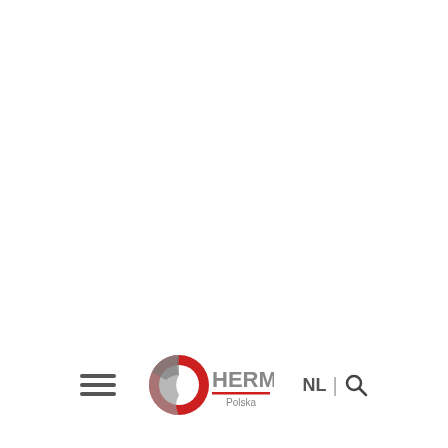[Figure (logo): Hermle Polska logo with red circular ring and grey HERMLE text with red Polska underline, accompanied by hamburger menu icon on the left and NL | search icon on the right]